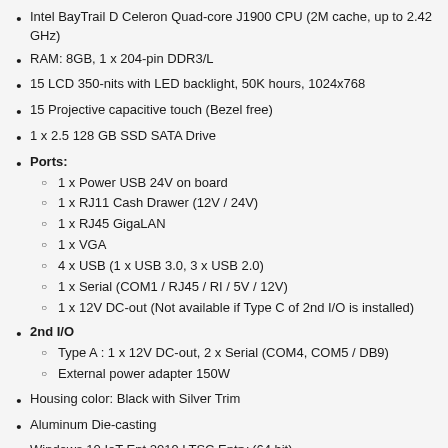Intel BayTrail D Celeron Quad-core J1900 CPU (2M cache, up to 2.42 GHz)
RAM: 8GB, 1 x 204-pin DDR3/L
15 LCD 350-nits with LED backlight, 50K hours, 1024x768
15 Projective capacitive touch (Bezel free)
1 x 2.5 128 GB SSD SATA Drive
Ports:
1 x Power USB 24V on board
1 x RJ11 Cash Drawer (12V / 24V)
1 x RJ45 GigaLAN
1 x VGA
4 x USB (1 x USB 3.0, 3 x USB 2.0)
1 x Serial (COM1 / RJ45 / RI / 5V / 12V)
1 x 12V DC-out (Not available if Type C of 2nd I/O is installed)
2nd I/O
Type A : 1 x 12V DC-out, 2 x Serial (COM4, COM5 / DB9)
External power adapter 150W
Housing color: Black with Silver Trim
Aluminum Die-casting
Windows 10 IoT Ent 2019 LTSC Entry (64 bit)